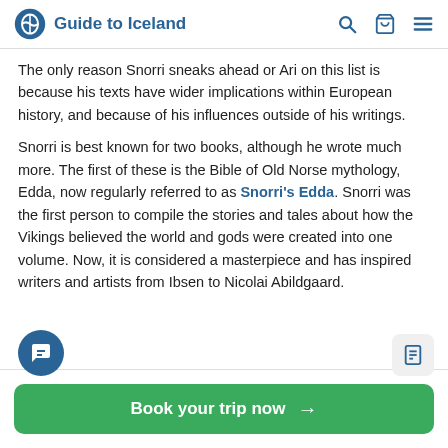Guide to Iceland
The only reason Snorri sneaks ahead or Ari on this list is because his texts have wider implications within European history, and because of his influences outside of his writings.
Snorri is best known for two books, although he wrote much more. The first of these is the Bible of Old Norse mythology, Edda, now regularly referred to as Snorri's Edda. Snorri was the first person to compile the stories and tales about how the Vikings believed the world and gods were created into one volume. Now, it is considered a masterpiece and has inspired writers and artists from Ibsen to Nicolai Abildgaard.
Book your trip now →